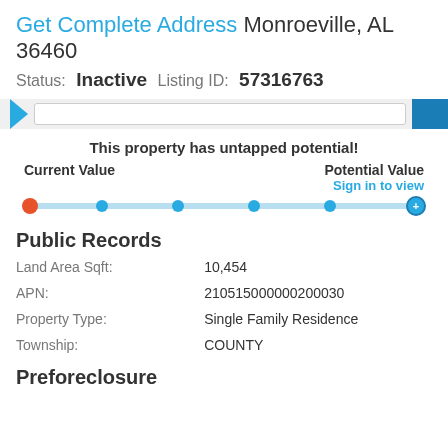Get Complete Address Monroeville, AL 36460
Status: Inactive   Listing ID: 57316763
[Figure (screenshot): Navigation bar with blue arrow, search input, and blue button]
This property has untapped potential!
Current Value   Potential Value
Sign in to view
[Figure (other): Slider track with orange dot at left, blue dots at intervals, and blue plus-circle at right end]
Public Records
| Field | Value |
| --- | --- |
| Land Area Sqft: | 10,454 |
| APN: | 210515000000200030 |
| Property Type: | Single Family Residence |
| Township: | COUNTY |
Preforeclosure